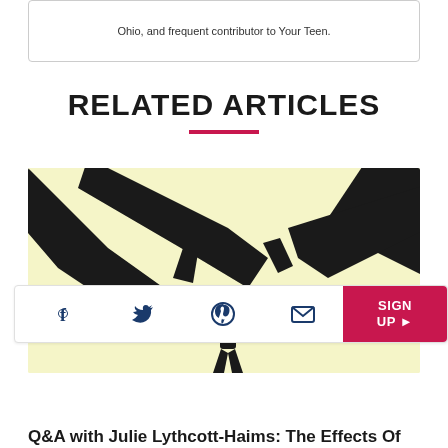Ohio, and frequent contributor to Your Teen.
RELATED ARTICLES
[Figure (illustration): Silhouette illustration of a child reaching up toward adult hands on a yellow-cream background]
[Figure (infographic): Social sharing bar with Facebook, Twitter, Pinterest, Email icons and a pink SIGN UP button]
Q&A with Julie Lythcott-Haims: The Effects Of